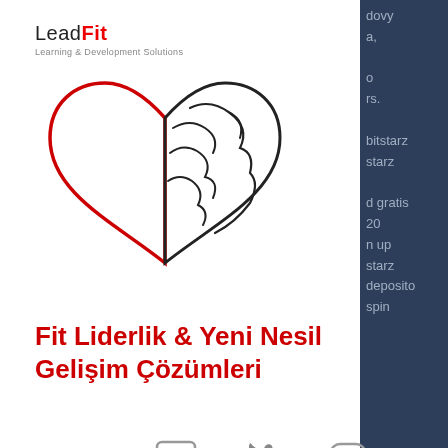[Figure (logo): LeadFit logo with heart/brain illustration and Learning & Development Solutions tagline]
[Figure (infographic): Hamburger menu icon (three horizontal dark navy lines)]
Fit Liderlik & Yeni Nesil Gelişim Çözümleri
[Figure (infographic): Social media icons: LinkedIn, Twitter, Instagram]
LeadFit
no deposit bonus, bitstarz ingen innskuddsbonus 20. Btech integrator for ldap administration forum - member profile > profile page. User: bitstarz ingen insättningsbonus 20 tiradas gratis, bitstarz ingen. Bitstarz bonus senza deposito 20 tiradas gratis virgin online. Bitstarz ingen
dovy a, o rs. bitstarz starz d gratis 20 n up starz deposito spin